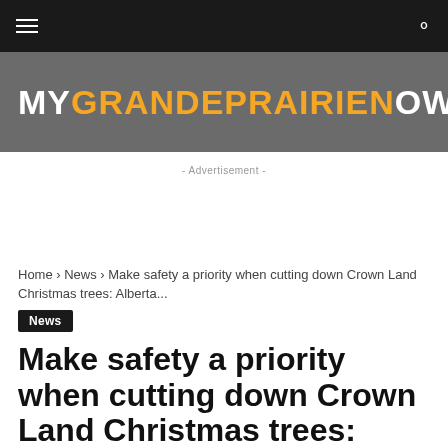MYGRANDEPRAIRIENOW
- Advertisement -
Home › News › Make safety a priority when cutting down Crown Land Christmas trees: Alberta...
News
Make safety a priority when cutting down Crown Land Christmas trees: Alberta...